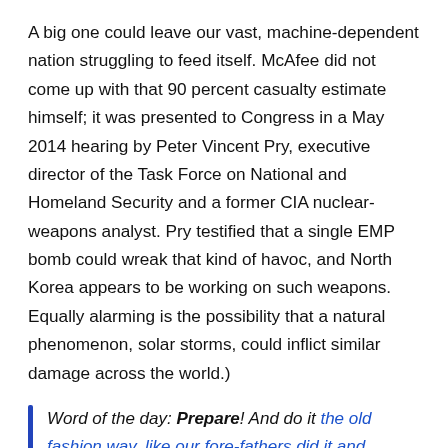A big one could leave our vast, machine-dependent nation struggling to feed itself. McAfee did not come up with that 90 percent casualty estimate himself; it was presented to Congress in a May 2014 hearing by Peter Vincent Pry, executive director of the Task Force on National and Homeland Security and a former CIA nuclear-weapons analyst. Pry testified that a single EMP bomb could wreak that kind of havoc, and North Korea appears to be working on such weapons.  Equally alarming is the possibility that a natural phenomenon, solar storms, could inflict similar damage across the world.)
Word of the day: Prepare! And do it the old fashion way, like our fore-fathers did it and succeed long before us, because what lies ahead of us will require all the help we can get. Watch this video and learn the 3 skills that ensured our ancestors survival in hard